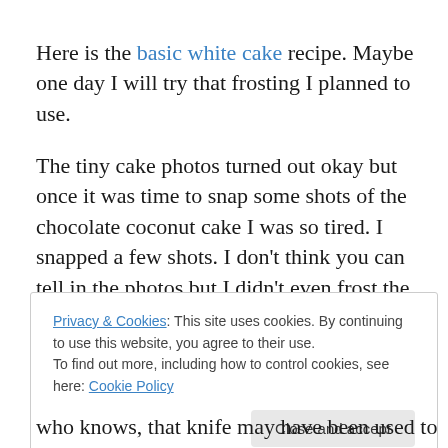Here is the basic white cake recipe. Maybe one day I will try that frosting I planned to use.
The tiny cake photos turned out okay but once it was time to snap some shots of the chocolate coconut cake I was so tired. I snapped a few shots. I don't think you can tell in the photos but I didn't even frost the whole thing. Also the
Privacy & Cookies: This site uses cookies. By continuing to use this website, you agree to their use.
To find out more, including how to control cookies, see here: Cookie Policy
who knows, that knife may have been used to get me out